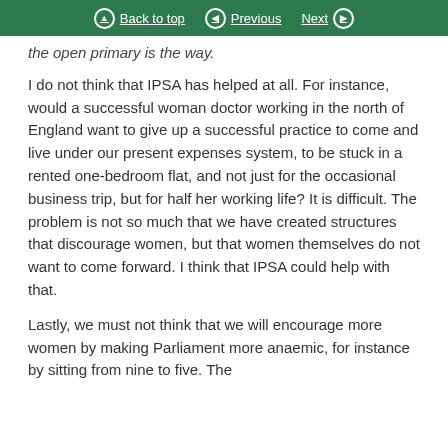Back to top | Previous | Next
the open primary is the way.
I do not think that IPSA has helped at all. For instance, would a successful woman doctor working in the north of England want to give up a successful practice to come and live under our present expenses system, to be stuck in a rented one-bedroom flat, and not just for the occasional business trip, but for half her working life? It is difficult. The problem is not so much that we have created structures that discourage women, but that women themselves do not want to come forward. I think that IPSA could help with that.
Lastly, we must not think that we will encourage more women by making Parliament more anaemic, for instance by sitting from nine to five. The